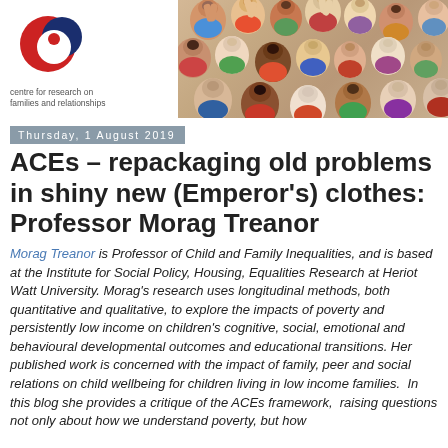[Figure (photo): CRFR (Centre for Research on Families and Relationships) banner with logo on the left and a group photo of diverse people waving/raising hands on the right.]
Thursday, 1 August 2019
ACEs – repackaging old problems in shiny new (Emperor's) clothes: Professor Morag Treanor
Morag Treanor is Professor of Child and Family Inequalities, and is based at the Institute for Social Policy, Housing, Equalities Research at Heriot Watt University. Morag's research uses longitudinal methods, both quantitative and qualitative, to explore the impacts of poverty and persistently low income on children's cognitive, social, emotional and behavioural developmental outcomes and educational transitions. Her published work is concerned with the impact of family, peer and social relations on child wellbeing for children living in low income families.  In this blog she provides a critique of the ACEs framework,  raising questions not only about how we understand poverty, but how